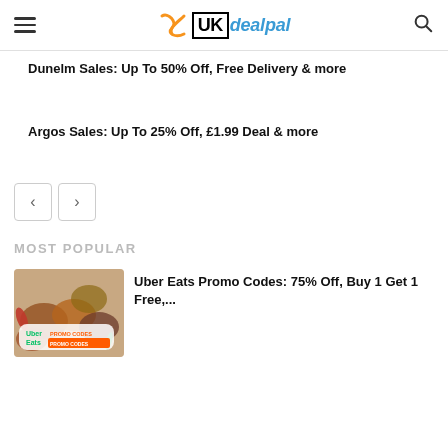UK dealpal
Dunelm Sales: Up To 50% Off, Free Delivery & more
Argos Sales: Up To 25% Off, £1.99 Deal & more
MOST POPULAR
[Figure (photo): Uber Eats food dishes with Uber Eats promo codes logo overlay]
Uber Eats Promo Codes: 75% Off, Buy 1 Get 1 Free,...